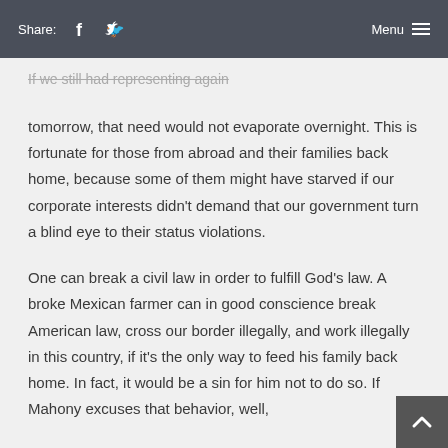Share: [Facebook] [Twitter]   Menu
If we still had representing again tomorrow, that need would not evaporate overnight.  This is fortunate for those from abroad and their families back home, because some of them might have starved if our corporate interests didn't demand that our government turn a blind eye to their status violations.
One can break a civil law in order to fulfill God's law.  A broke Mexican farmer can in good conscience break American law, cross our border illegally, and work illegally in this country, if it's the only way to feed his family back home.  In fact, it would be a sin for him not to do so.  If Mahony excuses that behavior, well,